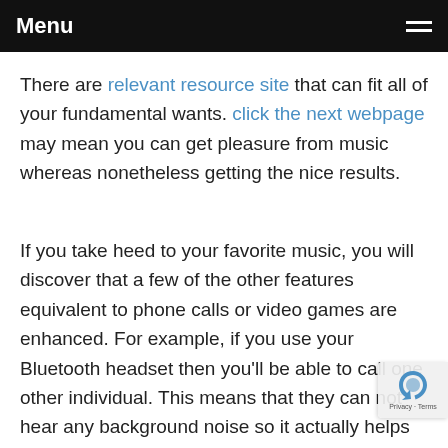Menu
There are relevant resource site that can fit all of your fundamental wants. click the next webpage may mean you can get pleasure from music whereas nonetheless getting the nice results.
If you take heed to your favorite music, you will discover that a few of the other features equivalent to phone calls or video games are enhanced. For example, if you use your Bluetooth headset then you'll be able to call one other individual. This means that they can not hear any background noise so it actually helps the